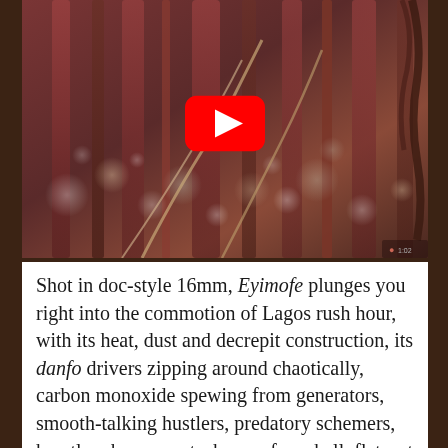[Figure (screenshot): A video thumbnail showing a close-up macro shot of what appears to be plant stems or feathers with a bokeh background of red and muted tones. A YouTube play button (red rounded rectangle with white triangle) is overlaid in the center.]
Shot in doc-style 16mm, Eyimofe plunges you right into the commotion of Lagos rush hour, with its heat, dust and decrepit construction, its danfo drivers zipping around chaotically, carbon monoxide spewing from generators, smooth-talking hustlers, predatory schemers, heartless bureaucrats, bosses from hell, flat-out swindlers, and just plain cheapskates. Lagos is a city where every move you make sends you into a Kafkaesque maze of hospital